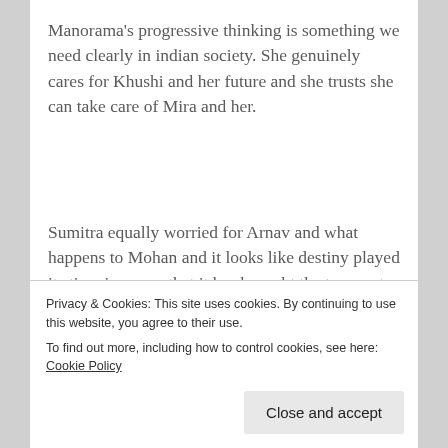Manorama's progressive thinking is something we need clearly in indian society. She genuinely cares for Khushi and her future and she trusts she can take care of Mira and her.
Sumitra equally worried for Arnav and what happens to Mohan and it looks like destiny played its time in a way that it has brought the two past lovers back in a new phase. They have baggage's to work with and demons to fight. But I see Arnav has made up his mind while Khushi still has a long
Privacy & Cookies: This site uses cookies. By continuing to use this website, you agree to their use.
To find out more, including how to control cookies, see here: Cookie Policy
Close and accept